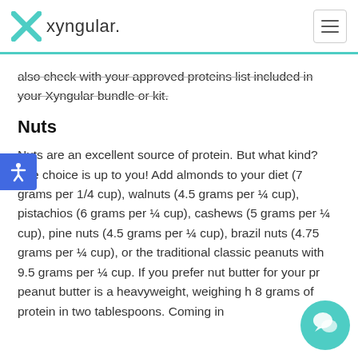xyngular.
also check with your approved proteins list included in your Xyngular bundle or kit.
Nuts
Nuts are an excellent source of protein. But what kind? The choice is up to you! Add almonds to your diet (7 grams per 1/4 cup), walnuts (4.5 grams per ¼ cup), pistachios (6 grams per ¼ cup), cashews (5 grams per ¼ cup), pine nuts (4.5 grams per ¼ cup), brazil nuts (4.75 grams per ¼ cup), or the traditional classic peanuts with 9.5 grams per ¼ cup. If you prefer nut butter for your pr... peanut butter is a heavyweight, weighing ...h 8 grams of protein in two tablespoons. Coming in